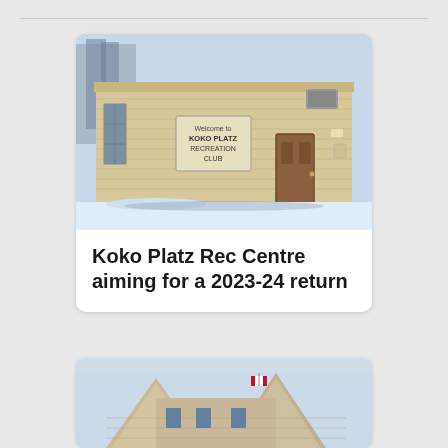[Figure (photo): Exterior photo of Koko Platz Recreation Club building in winter, with snow on the ground. A wooden building with a sign reading 'Welcome to Koko Platz Recreation Club', a brown door visible on the right side.]
Koko Platz Rec Centre aiming for a 2023-24 return
[Figure (photo): Exterior photo of a stone or brick heritage building with gabled rooflines and a Canadian flag, photographed from below against a light sky.]